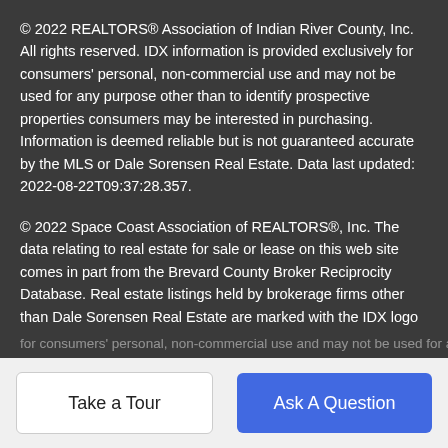© 2022 REALTORS® Association of Indian River County, Inc. All rights reserved. IDX information is provided exclusively for consumers' personal, non-commercial use and may not be used for any purpose other than to identify prospective properties consumers may be interested in purchasing. Information is deemed reliable but is not guaranteed accurate by the MLS or Dale Sorensen Real Estate. Data last updated: 2022-08-22T09:37:28.357.
© 2022 Space Coast Association of REALTORS®, Inc. The data relating to real estate for sale or lease on this web site comes in part from the Brevard County Broker Reciprocity Database. Real estate listings held by brokerage firms other than Dale Sorensen Real Estate are marked with the IDX logo and detailed information about them includes the name of the listing broker. Information is deemed reliable but is not guaranteed accurate by the MLS or Dale Sorensen Real Estate.IDX information is provided exclusively
for consumers' personal, non-commercial use and may not be used for any
Take a Tour
Ask A Question